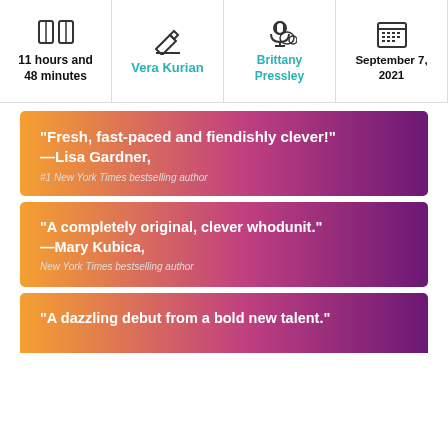| Duration | Author | Narrator | Date |
| --- | --- | --- | --- |
| 11 hours and 48 minutes | Vera Kurian | Brittany Pressley | September 7, 2021 |
[Figure (infographic): Quote banner with gradient background orange to purple: "Fresh, fast-paced and fiendishly clever!" —Lisa Gardner, #1 New York Times bestselling author]
[Figure (infographic): Quote banner with gradient background orange to purple: "A completely original, clever whodunit." —Mary Kubica, New York Times bestselling author]
[Figure (infographic): Quote banner with gradient background orange to purple: "A dazzling debut from a bold new talent."]